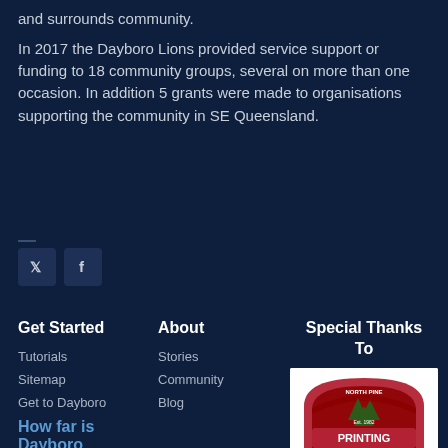and surrounds community.
In 2017 the Dayboro Lions provided service support or funding to 18 community groups, several on more than one occasion. In addition 5 grants were made to organisations supporting the community in SE Queensland.
[Figure (other): Twitter and Facebook social media icon buttons]
Get Started
Tutorials
Sitemap
Get to Dayboro
How far is Dayboro from
About
Stories
Community
Blog
Special Thanks To
[Figure (logo): North Pine Printing logo - a red arch badge with pine trees, 'Est. 1982', Letterpress, 'Make an Impression']